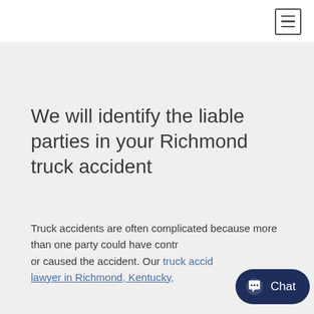Navigation bar with hamburger menu icon
We will identify the liable parties in your Richmond truck accident
Truck accidents are often complicated because more than one party could have contributed to or caused the accident. Our truck accident lawyer in Richmond, Kentucky, will work to
[Figure (other): Chat button overlay in bottom-right corner with chat bubble icon and 'Chat' label]